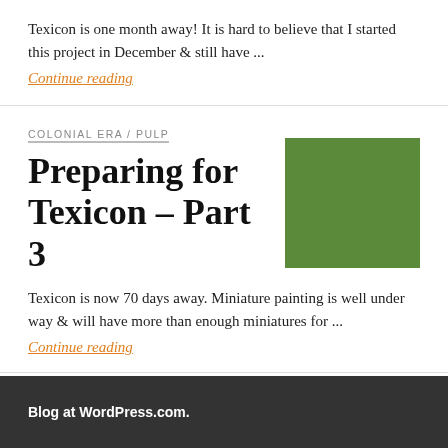Texicon is one month away! It is hard to believe that I started this project in December & still have ...
Continue reading
COLONIAL ERA / PULP
Preparing for Texicon – Part 3
[Figure (photo): A miniature figurine on a green gaming surface, photographed close-up.]
Texicon is now 70 days away. Miniature painting is well under way & will have more than enough miniatures for ...
Continue reading
OLDER POSTS
Blog at WordPress.com.